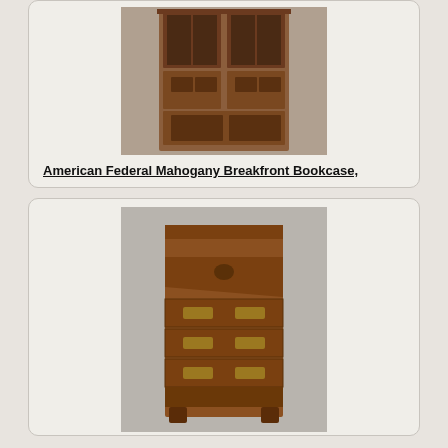[Figure (photo): American Federal Mahogany Breakfront Bookcase furniture photograph showing a tall wooden bookcase with glass doors on top and paneled cabinet doors below]
American Federal Mahogany Breakfront Bookcase,
American Federal Mahogany Breakfront Bookcase, fourth quarter 18th century, in the late Georgian taste, the molded cornice with carved drop finials above
[Figure (photo): Chippendale Carved Mahogany Block-front Slant-lid Desk photograph showing a wooden slant-lid desk with block-front drawers and bracket feet]
Chippendale Carved Mahogany Block-front Slant-lid
Chippendale Carved Mahogany Block-front Slant-lid Desk, Boston, c. 1760-80, the lid with concave-carved panel and